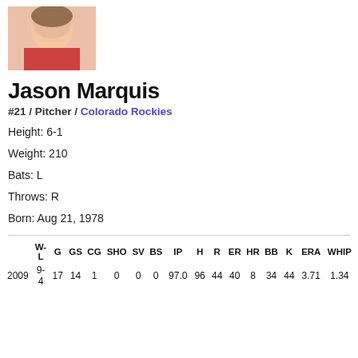[Figure (photo): Headshot photo of Jason Marquis in Colorado Rockies uniform]
Jason Marquis
#21 / Pitcher / Colorado Rockies
Height: 6-1
Weight: 210
Bats: L
Throws: R
Born: Aug 21, 1978
| W-L | G | GS | CG | SHO | SV | BS | IP | H | R | ER | HR | BB | K | ERA | WHIP |
| --- | --- | --- | --- | --- | --- | --- | --- | --- | --- | --- | --- | --- | --- | --- | --- |
| 2009 | 9- | 17 | 14 | 1 | 0 | 0 | 0 | 97.0 | 96 | 44 | 40 | 8 | 34 | 44 | 3.71 | 1.34 |
|  | 4 |  |  |  |  |  |  |  |  |  |  |  |  |  |  |  |